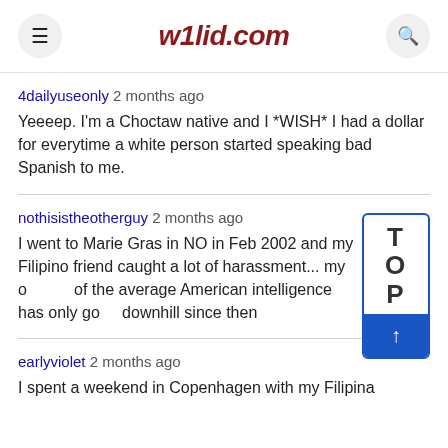w1lid.com
4dailyuseonly 2 months ago
Yeeeep. I'm a Choctaw native and I *WISH* I had a dollar for everytime a white person started speaking bad Spanish to me.
nothisistheotherguy 2 months ago
I went to Marie Gras in NO in Feb 2002 and my Filipino friend caught a lot of harassment... my o[pinion] of the average American intelligence has only go[ne] downhill since then
earlyviolet 2 months ago
I spent a weekend in Copenhagen with my Filipina